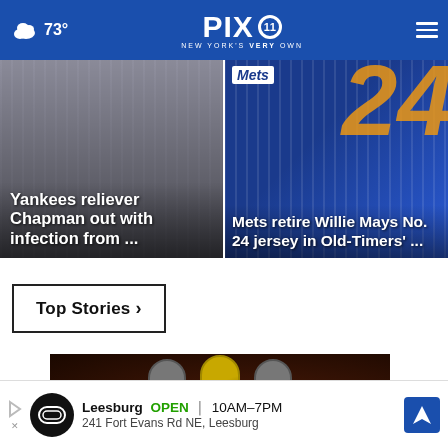73° PIX 11 NEW YORK'S VERY OWN
[Figure (photo): Yankees reliever Chapman in pinstripe uniform]
Yankees reliever Chapman out with infection from ...
[Figure (photo): Mets retire Willie Mays No. 24 jersey in Old-Timers' game]
Mets retire Willie Mays No. 24 jersey in Old-Timers' ...
Top Stories ›
[Figure (photo): Three football players in dark uniforms and helmets against dark background]
Leesburg OPEN 10AM–7PM 241 Fort Evans Rd NE, Leesburg